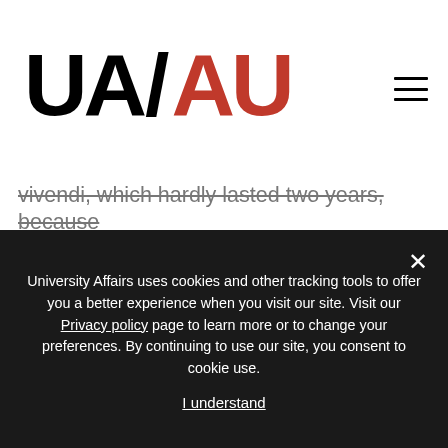UA/AU logo and navigation
vivendi, which hardly lasted two years, because university governance structures had by then made non-unionization suicidal for academic strength and dignity. Unions have their failings, but that doesn't vitiate our present need for them. Is it fair to bring in another aspect of this search for truth? President MacKinnon's university's Faculty of Agriculture has long had an external funding arrangement with Monsanto — hardly a paragon of truthful research or public-spirited
University Affairs uses cookies and other tracking tools to offer you a better experience when you visit our site. Visit our Privacy policy page to learn more or to change your preferences. By continuing to use our site, you consent to cookie use.

I understand